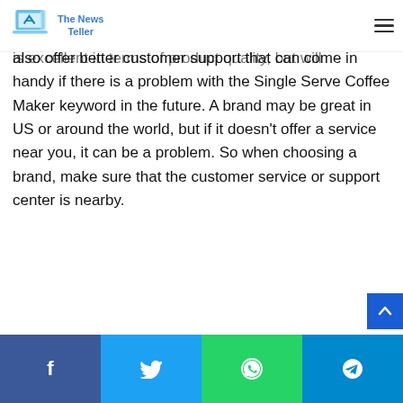The News Teller
I always recommend my readers to choose the Single Serve that comes from a well-known brand. Because it is excellent in terms of product quality, but will also offer better customer support that can come in handy if there is a problem with the Single Serve Coffee Maker keyword in the future. A brand may be great in US or around the world, but if it doesn't offer a service near you, it can be a problem. So when choosing a brand, make sure that the customer service or support center is nearby.
Facebook Twitter WhatsApp Telegram